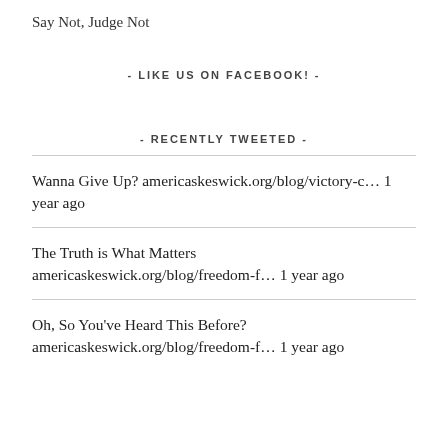Say Not, Judge Not
- LIKE US ON FACEBOOK! -
- RECENTLY TWEETED -
Wanna Give Up? americaskeswick.org/blog/victory-c... 1 year ago
The Truth is What Matters americaskeswick.org/blog/freedom-f... 1 year ago
Oh, So You've Heard This Before? americaskeswick.org/blog/freedom-f... 1 year ago